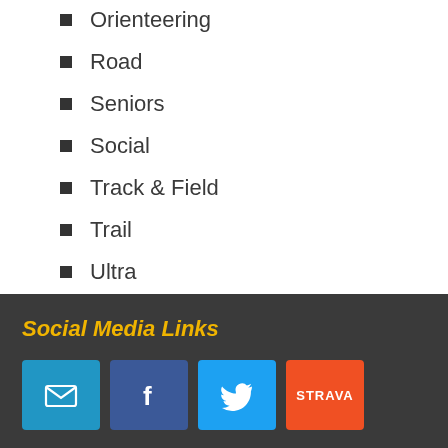Orienteering
Road
Seniors
Social
Track & Field
Trail
Ultra
Archives
Select Month
Social Media Links
[Figure (infographic): Social media link icons: email, Facebook, Twitter, Strava]